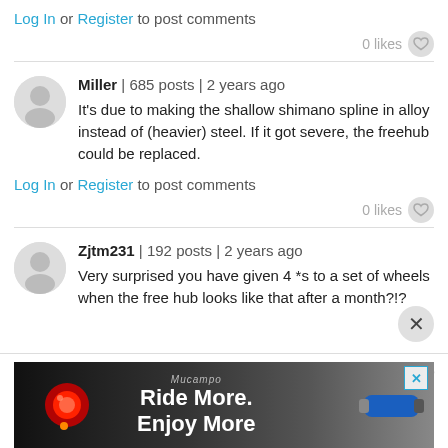Log In or Register to post comments
0 likes
Miller | 685 posts | 2 years ago
It's due to making the shallow shimano spline in alloy instead of (heavier) steel. If it got severe, the freehub could be replaced.
Log In or Register to post comments
0 likes
Zjtm231 | 192 posts | 2 years ago
Very surprised you have given 4 *s to a set of wheels when the free hub looks like that after a month?!?
[Figure (screenshot): Advertisement banner: Ride More. Enjoy More with cycling lights imagery and X close button]